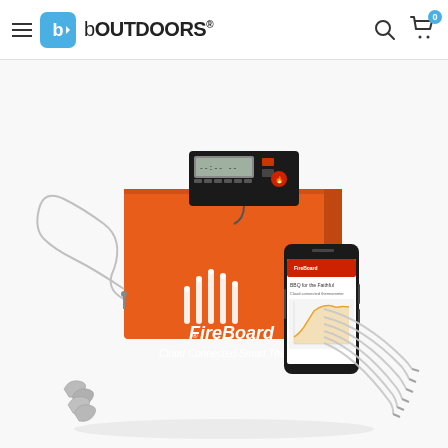bOUTDOORS®
[Figure (photo): Product photo of FireBoard Cloud Connected Smart Thermometer kit on white background. Features an orange retail box with white FireBoard logo and text 'Cloud Connected Smart Thermometer', a black digital thermometer display unit sitting on top of the box, a smartphone showing the FireBoard app with a temperature graph, multiple stainless steel probe thermometers fanned out to the right, a coiled ambient probe to the left, and metal grill clips in the foreground left.]